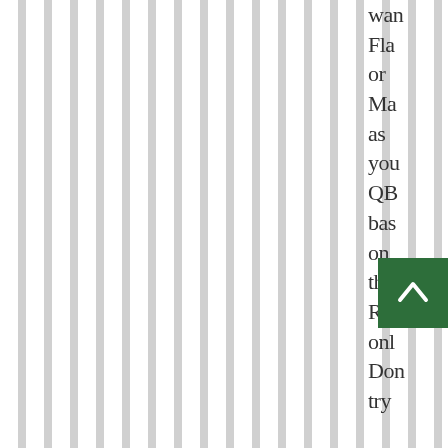[Figure (other): Vertical striped background pattern — alternating white and light gray vertical lines spanning the left portion of the page]
want Flac or Man as your QB base on their Resu only Don't try re-write hist base